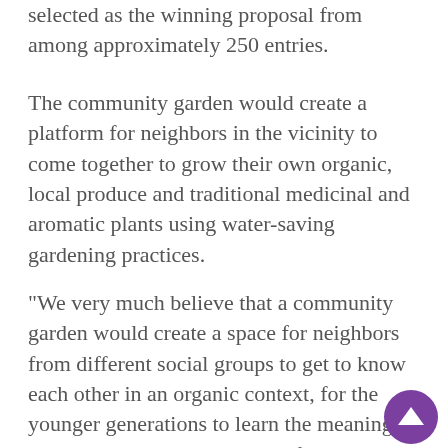selected as the winning proposal from among approximately 250 entries.
The community garden would create a platform for neighbors in the vicinity to come together to grow their own organic, local produce and traditional medicinal and aromatic plants using water-saving gardening practices.
"We very much believe that a community garden would create a space for neighbors from different social groups to get to know each other in an organic context, for the younger generations to learn the meaning of eating and growing local, and for the elderly to share their knowledge about plants," Pañeda explained.